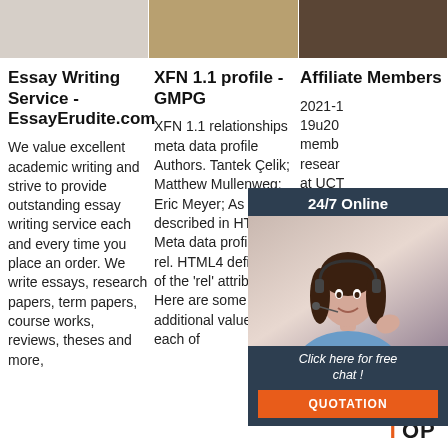[Figure (photo): Three small thumbnail images at the top of the page — a light beige/cream colored image, a brown/tan image, and a dark brown image]
Essay Writing Service - EssayErudite.com
We value excellent academic writing and strive to provide outstanding essay writing service each and every time you place an order. We write essays, research papers, term papers, course works, reviews, theses and more,
XFN 1.1 profile - GMPG
XFN 1.1 relationships meta data profile Authors. Tantek Çelik; Matthew Mullenweg; Eric Meyer; As described in HTML4 Meta data profiles.. rel. HTML4 definition of the 'rel' attribute. Here are some additional values, each of
Affiliate Members
2021-1 19u20 memb resear at UCT than in comple seek supple memb IDM because their research interests align with the general focus a current activity areas of the IDM,
[Figure (photo): Customer service representative woman with headset, smiling, overlay chat widget with '24/7 Online' header, 'Click here for free chat!' text, and orange QUOTATION button]